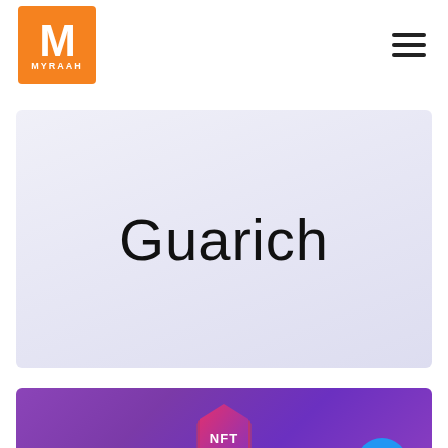[Figure (logo): Myraah logo: orange square with white M letter and MYRAAH text below]
[Figure (other): Hamburger menu icon (three horizontal lines)]
Guarich
[Figure (illustration): Purple gradient banner section with NFT hexagonal badge icon in the center and a blue circular chat button on the bottom right]